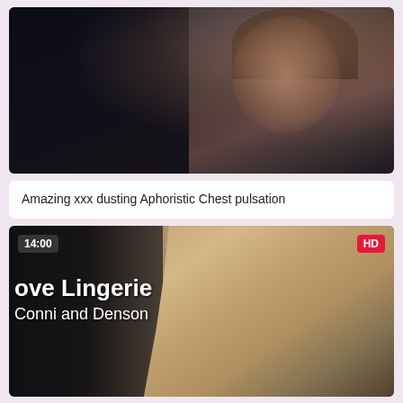[Figure (photo): Video thumbnail showing a close-up scene in dark tones]
Amazing xxx dusting Aphoristic Chest pulsation
[Figure (photo): Video thumbnail with time badge 14:00 and HD badge, showing text overlay 'ove Lingerie' and 'Conni and Denson']